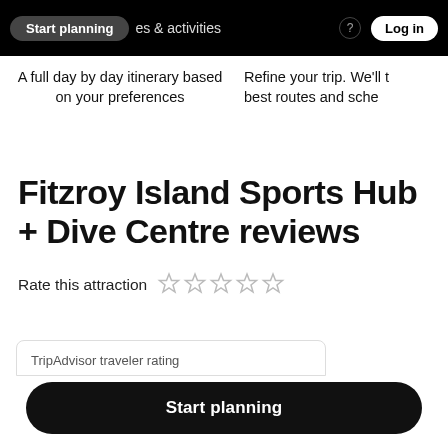Start planning | es & activities | Log in
A full day by day itinerary based on your preferences
Refine your trip. We'll t best routes and sche
Fitzroy Island Sports Hub + Dive Centre reviews
Rate this attraction ☆☆☆☆☆
TripAdvisor traveler rating
Start planning